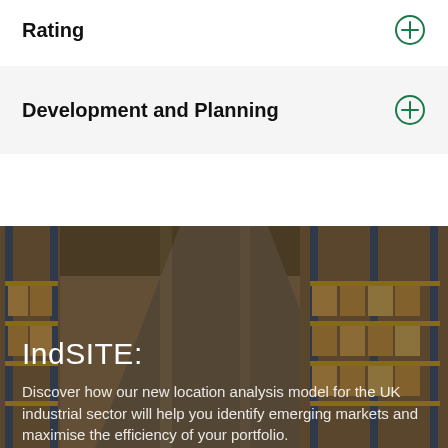Rating
Development and Planning
[Figure (photo): Warehouse interior with tall yellow and blue shelving racks filled with boxes, dark overlay with text overlay]
IndSITE:
Discover how our new location analysis model for the UK industrial sector will help you identify emerging markets and maximise the efficiency of your portfolio.